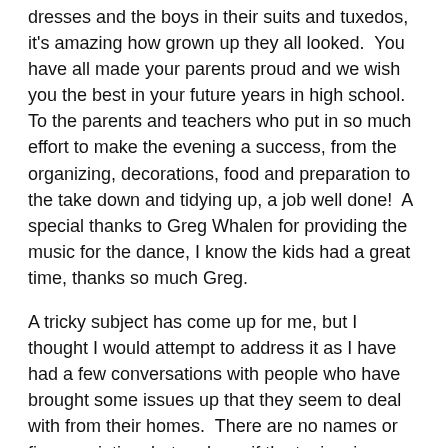dresses and the boys in their suits and tuxedos, it's amazing how grown up they all looked.  You have all made your parents proud and we wish you the best in your future years in high school. To the parents and teachers who put in so much effort to make the evening a success, from the organizing, decorations, food and preparation to the take down and tidying up, a job well done!  A special thanks to Greg Whalen for providing the music for the dance, I know the kids had a great time, thanks so much Greg.
A tricky subject has come up for me, but I thought I would attempt to address it as I have had a few conversations with people who have brought some issues up that they seem to deal with from their homes.  There are no names or finger pointing, but perhaps if the topics ring a bell for you, it may be something you can work on.
To those who take their dogs for walks, please take a bag and clean up after your pet.  I know that the large field in